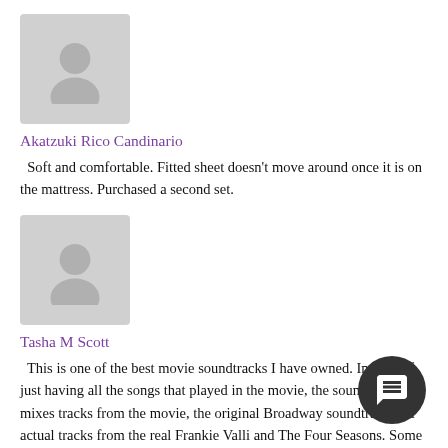[Figure (illustration): Grey placeholder avatar silhouette icon for user Akatzuki Rico Candinario]
Akatzuki Rico Candinario
Soft and comfortable. Fitted sheet doesn't move around once it is on the mattress. Purchased a second set.
[Figure (illustration): Grey placeholder avatar silhouette icon for user Tasha M Scott]
Tasha M Scott
This is one of the best movie soundtracks I have owned. Instead of just having all the songs that played in the movie, the soundtrack mixes tracks from the movie, the original Broadway soundtrack and actual tracks from the real Frankie Valli and The Four Seasons. Some tracks even fuse two versions at once into one seamless track. Those who complained about the instrumental (the saxophone/horn parts) for "Can't Take My Eyes Off Of You" in the movie version will find the track polished up on this soundtrack. I actually like the slower intro to the song in the movie version. This replaces your favorite Greatest Hits CD.
The best way to play it is straight through. There is no bad song on this soundtrack. If you're a fan of The Four Seasons, the Broadway show, or